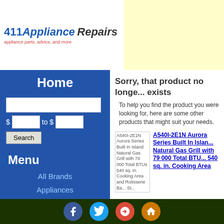[Figure (logo): 411 Appliance Repairs logo with tagline 'appliance parts, advice, and more' and refrigerator image]
Home
Menu
All Brands
Appliances
Connection
Price
Sorry, that product no longer exists
To help you find the product you were looking for, here are some other products that might suit your needs.
A540I-2E1N Aurora Series Built In Island Natural Gas Grill with 79 000 Total BTUs 540 sq. in. Cooking Area and Rotisserie Ba... St...
A540I-2E1N Aurora Series Built In Island Natural Gas Grill with 79 000 Total BTUs 540 sq. in. Cooking Area